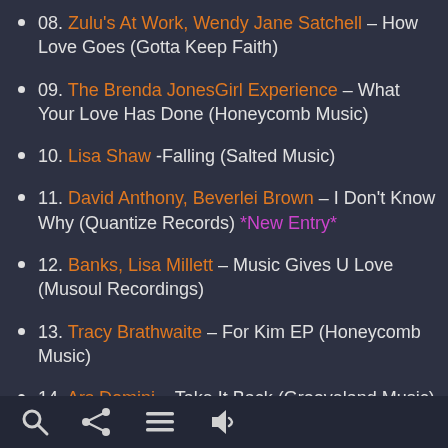08. Zulu's At Work, Wendy Jane Satchell – How Love Goes (Gotta Keep Faith)
09. The Brenda JonesGirl Experience – What Your Love Has Done (Honeycomb Music)
10. Lisa Shaw -Falling (Salted Music)
11. David Anthony, Beverlei Brown – I Don't Know Why (Quantize Records) *New Entry*
12. Banks, Lisa Millett – Music Gives U Love (Musoul Recordings)
13. Tracy Brathwaite – For Kim EP (Honeycomb Music)
14. Ars Domini – Take It Back (Grooveland Music)